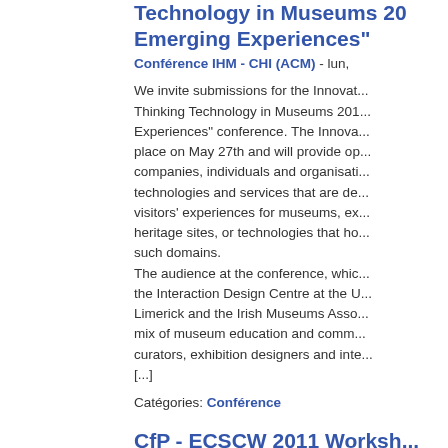Technology in Museums 2011: "Emerging Experiences"
Conférence IHM - CHI (ACM) - lun,
We invite submissions for the Innovative Thinking Technology in Museums 2011: "Emerging Experiences" conference. The Innova... place on May 27th and will provide op... companies, individuals and organisat... technologies and services that are de... visitors' experiences for museums, ex... heritage sites, or technologies that ho... such domains.
The audience at the conference, whic... the Interaction Design Centre at the U... Limerick and the Irish Museums Asso... mix of museum education and comm... curators, exhibition designers and inte... [...]
Catégories: Conférence
CfP - ECSCW 2011 Workshop: Fostering Social Interaction in an Ageing Society - Submissio... 15 May 2011
Conférence IHM - CHI (ACM) -